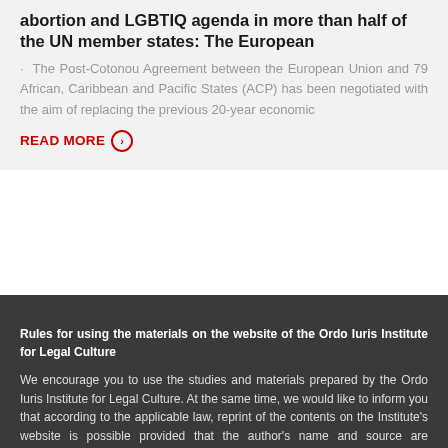abortion and LGBTIQ agenda in more than half of the UN member states: The European
· The Post-Cotonou Agreement between the European Union and 79 African, Caribbean and Pacific States (ACP) has been negotiated with the aim of replacing the previous 20-year economic
READ MORE >
Rules for using the materials on the website of the Ordo Iuris Institute for Legal Culture
We encourage you to use the studies and materials prepared by the Ordo Iuris Institute for Legal Culture. At the same time, we would like to inform you that according to the applicable law, reprint of the contents on the Institute's website is possible provided that the author's name and source are mentioned (the website of the Ordo Iuris Institute for Legal Culture) (article 34 of the act of 4 February 1994 on